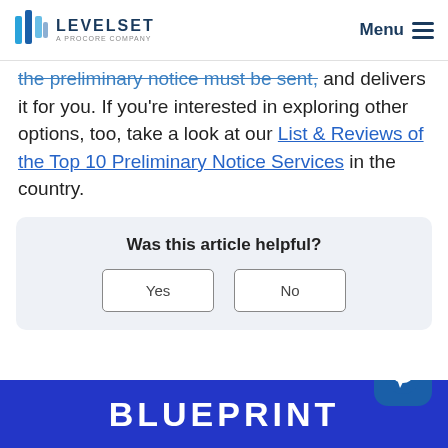Levelset — A Procore Company | Menu
the preliminary notice must be sent, and delivers it for you. If you're interested in exploring other options, too, take a look at our List & Reviews of the Top 10 Preliminary Notice Services in the country.
Was this article helpful?
Yes  No
[Figure (screenshot): Blue banner at bottom with text BLUEPRINT in bold white letters, and a chat icon button in the bottom right corner.]